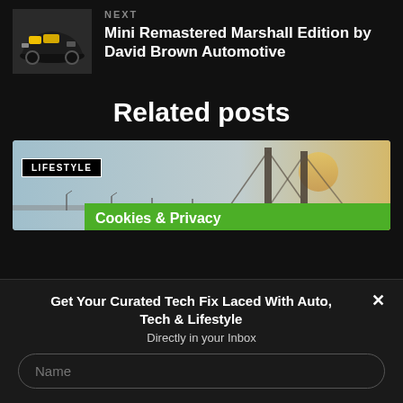[Figure (photo): Thumbnail photo of a Mini Remastered Marshall Edition car interior/exterior with yellow and black details]
NEXT
Mini Remastered Marshall Edition by David Brown Automotive
Related posts
[Figure (photo): Lifestyle category card showing a bridge silhouette against a golden sky with a green overlay panel]
LIFESTYLE
Cookies & Privacy
Get Your Curated Tech Fix Laced With Auto, Tech & Lifestyle
Directly in your Inbox
Name